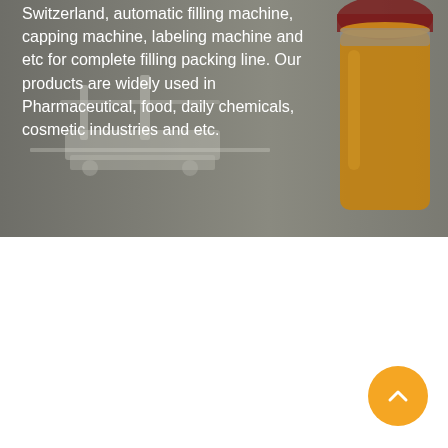[Figure (photo): Hero banner showing industrial filling machine on the left and a glass jar with yellow/orange liquid on the right, with grey background]
Switzerland, automatic filling machine, capping machine, labeling machine and etc for complete filling packing line. Our products are widely used in Pharmaceutical, food, daily chemicals, cosmetic industries and etc.
Home > Piston Filler in Switzerland